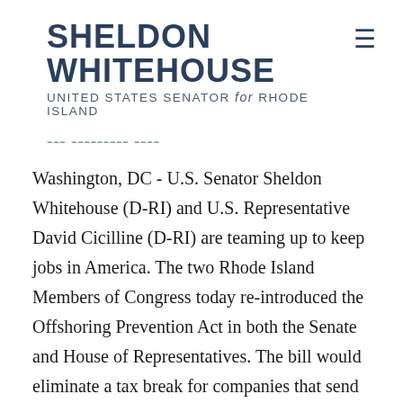SHELDON WHITEHOUSE
UNITED STATES SENATOR for RHODE ISLAND
--- --------- ----
Washington, DC - U.S. Senator Sheldon Whitehouse (D-RI) and U.S. Representative David Cicilline (D-RI) are teaming up to keep jobs in America. The two Rhode Island Members of Congress today re-introduced the Offshoring Prevention Act in both the Senate and House of Representatives. The bill would eliminate a tax break for companies that send jobs overseas and level the playing field for manufacturing businesses